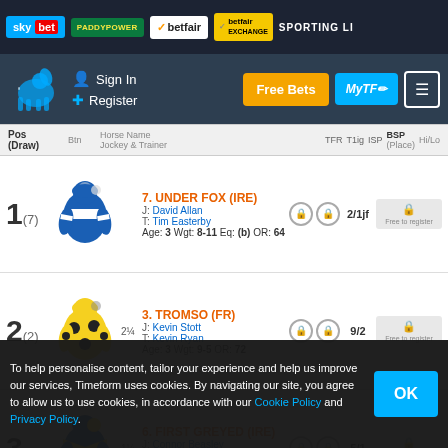sky bet | PADDYPOWER | betfair | betfair EXCHANGE | SPORTING LI
Sign In | Register | Free Bets | MyTF | Menu
| Pos (Draw) | Btn | Horse Name / Jockey & Trainer | TFR | T1ig | ISP | BSP (Place) | Hi/Lo |
| --- | --- | --- | --- | --- | --- | --- | --- |
| 1 (7) |  | 7. UNDER FOX (IRE)
J: David Allan
T: Tim Easterby
Age: 3 Wgt: 8-11 Eq: (b) OR: 64 |  |  | 2/1jf |  |  |
| 2 (2) | 2¼ | 3. TROMSO (FR)
J: Kevin Stott
T: Kevin Ryan
Age: 3 Wgt: 9-5 OR: 72 |  |  | 9/2 |  |  |
| 3 (5) | 1¼ | 6. FIRST GREYED (IRE)
J: Connor Beasley
T: Michael Dods
Age: 3 Wgt: 9-3 Eq: (s) OR: 70 |  |  | 5/1 |  |  |
To help personalise content, tailor your experience and help us improve our services, Timeform uses cookies. By navigating our site, you agree to allow us to use cookies, in accordance with our Cookie Policy and Privacy Policy.